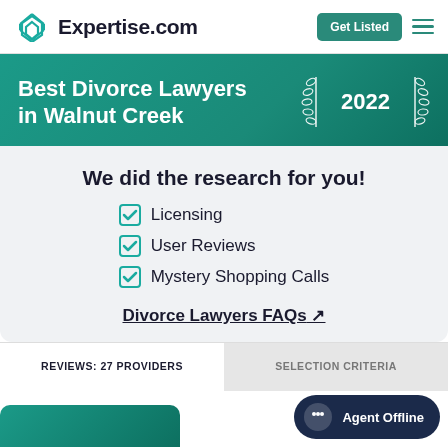Expertise.com
Best Divorce Lawyers in Walnut Creek 2022
We did the research for you!
Licensing
User Reviews
Mystery Shopping Calls
Divorce Lawyers FAQs
REVIEWS: 27 PROVIDERS
SELECTION CRITERIA
Agent Offline